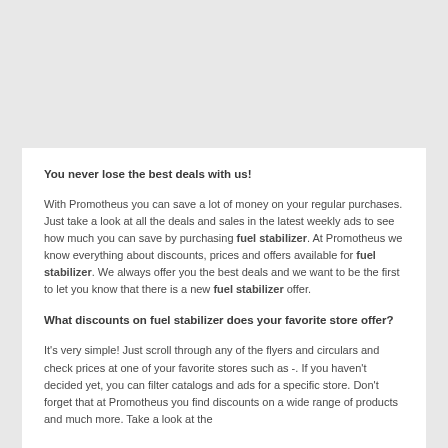You never lose the best deals with us!
With Promotheus you can save a lot of money on your regular purchases. Just take a look at all the deals and sales in the latest weekly ads to see how much you can save by purchasing fuel stabilizer. At Promotheus we know everything about discounts, prices and offers available for fuel stabilizer. We always offer you the best deals and we want to be the first to let you know that there is a new fuel stabilizer offer.
What discounts on fuel stabilizer does your favorite store offer?
It's very simple! Just scroll through any of the flyers and circulars and check prices at one of your favorite stores such as -. If you haven't decided yet, you can filter catalogs and ads for a specific store. Don't forget that at Promotheus you find discounts on a wide range of products and much more. Take a look at the